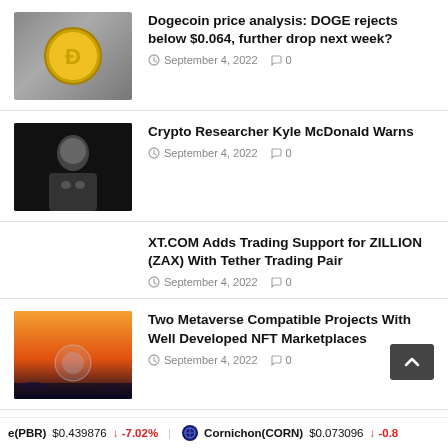Dogecoin price analysis: DOGE rejects below $0.064, further drop next week? — September 4, 2022 — 0 comments
Crypto Researcher Kyle McDonald Warns — September 4, 2022 — 0 comments
XT.COM Adds Trading Support for ZILLION (ZAX) With Tether Trading Pair — September 4, 2022 — 0 comments
Two Metaverse Compatible Projects With Well Developed NFT Marketplaces — September 4, 2022 — 0 comments
e(PBR) $0.439876 ↓ -7.02%   Cornichon(CORN) $0.073096 ↓ -0.8